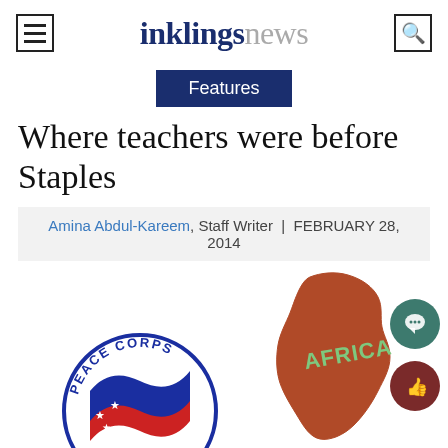inklingsnews
Features
Where teachers were before Staples
Amina Abdul-Kareem, Staff Writer | FEBRUARY 28, 2014
[Figure (illustration): Illustration with Peace Corps logo badge and Africa map shape with 'AFRICA' text, plus social buttons (chat and thumbs up)]